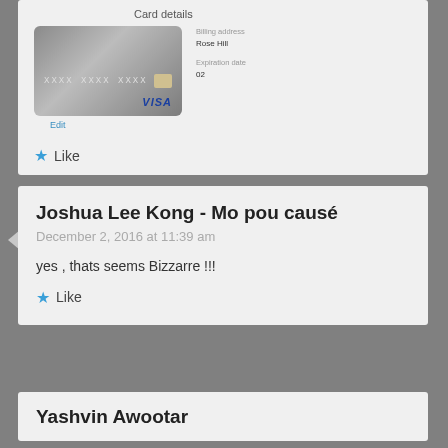[Figure (screenshot): Screenshot of a credit card details section showing a grey Visa card with number XXXX XXXX XXXX, billing address Rose Hill, expiration date 02, with an Edit link below.]
Like
Joshua Lee Kong - Mo pou causé
December 2, 2016 at 11:39 am
yes , thats seems Bizzarre !!!
Like
Yashvin Awootar